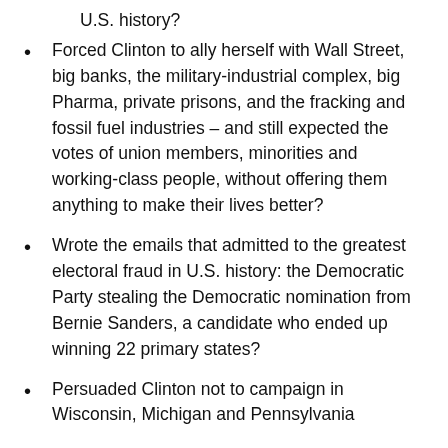U.S. history?
Forced Clinton to ally herself with Wall Street, big banks, the military-industrial complex, big Pharma, private prisons, and the fracking and fossil fuel industries – and still expected the votes of union members, minorities and working-class people, without offering them anything to make their lives better?
Wrote the emails that admitted to the greatest electoral fraud in U.S. history: the Democratic Party stealing the Democratic nomination from Bernie Sanders, a candidate who ended up winning 22 primary states?
Persuaded Clinton not to campaign in Wisconsin, Michigan and Pennsylvania